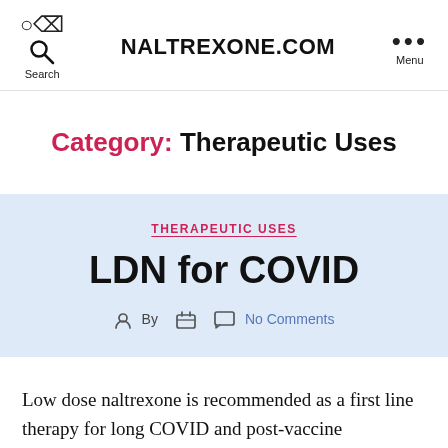NALTREXONE.COM
Category: Therapeutic Uses
THERAPEUTIC USES
LDN for COVID
By  No Comments
Low dose naltrexone is recommended as a first line therapy for long COVID and post-vaccine inflammation